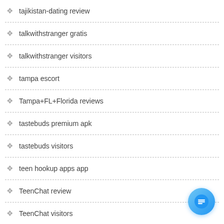tajikistan-dating review
talkwithstranger gratis
talkwithstranger visitors
tampa escort
Tampa+FL+Florida reviews
tastebuds premium apk
tastebuds visitors
teen hookup apps app
TeenChat review
TeenChat visitors
Telegraph Dating visitors